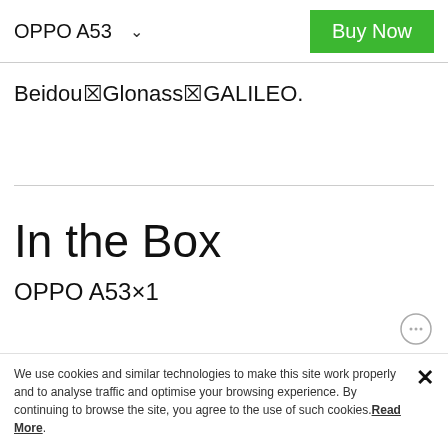OPPO A53
Beidou☒Glonass☒GALILEO.
In the Box
OPPO A53×1
We use cookies and similar technologies to make this site work properly and to analyse traffic and optimise your browsing experience. By continuing to browse the site, you agree to the use of such cookies. Read More.